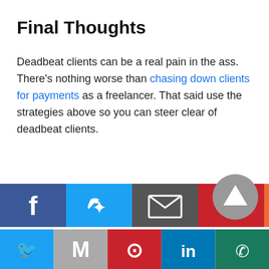Final Thoughts
Deadbeat clients can be a real pain in the ass. There's nothing worse than chasing down clients for payments as a freelancer. That said use the strategies above so you can steer clear of deadbeat clients.
[Figure (other): Social sharing buttons row: Facebook, Twitter, Mail/email, Pinterest, More (+)]
[Figure (other): Scroll-to-top up-arrow circular button (grey)]
[Figure (other): Bottom social sharing bar: Twitter, Mail (M), Pinterest, LinkedIn, WhatsApp]